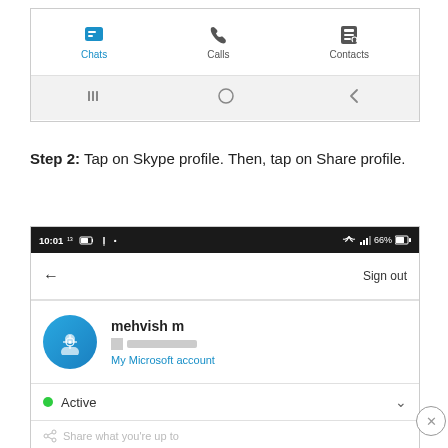[Figure (screenshot): Skype app bottom navigation bar showing Chats (active, blue icon), Calls, and Contacts tabs, with Android navigation bar below]
Step 2: Tap on Skype profile. Then, tap on Share profile.
[Figure (screenshot): Skype app profile page showing status bar (10:01, 66%), back arrow, Sign out button, user profile for mehvish m with avatar and My Microsoft account link, Active status row, and Share what you're up to bar at bottom]